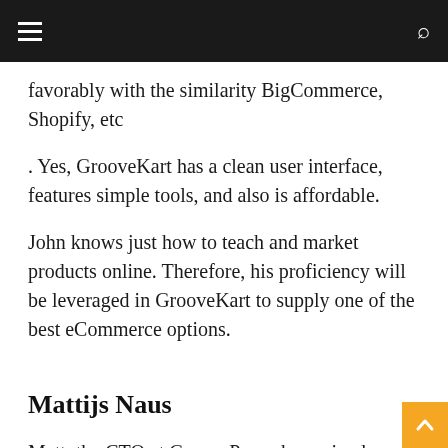☰ [hamburger menu] [search icon]
favorably with the similarity BigCommerce, Shopify, etc
. Yes, GrooveKart has a clean user interface, features simple tools, and also is affordable.
John knows just how to teach and market products online. Therefore, his proficiency will be leveraged in GrooveKart to supply one of the best eCommerce options.
Mattijs Naus
Matt, the CTO at GroovePages has gained substantial understanding when it involves constructing first-rate software products for on the internet brands, startups